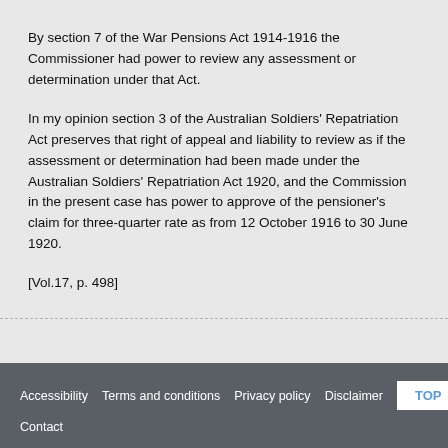By section 7 of the War Pensions Act 1914-1916 the Commissioner had power to review any assessment or determination under that Act.
In my opinion section 3 of the Australian Soldiers' Repatriation Act preserves that right of appeal and liability to review as if the assessment or determination had been made under the Australian Soldiers' Repatriation Act 1920, and the Commission in the present case has power to approve of the pensioner's claim for three-quarter rate as from 12 October 1916 to 30 June 1920.
[Vol.17, p. 498]
Accessibility  Terms and conditions  Privacy policy  Disclaimer  Contact  TOP